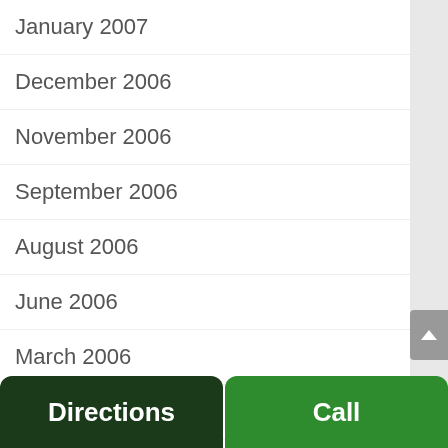January 2007
December 2006
November 2006
September 2006
August 2006
June 2006
March 2006
January 2006
December 2005
November 2005
October 2005
September 2005
Directions
Call